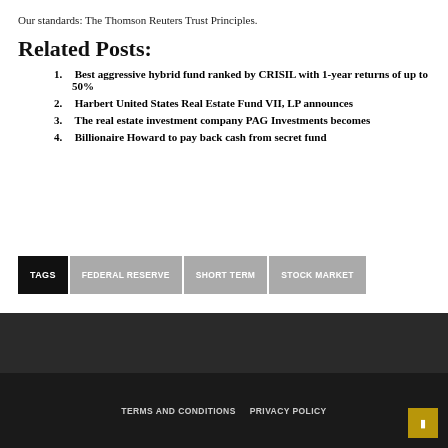Our standards: The Thomson Reuters Trust Principles.
Related Posts:
Best aggressive hybrid fund ranked by CRISIL with 1-year returns of up to 50%
Harbert United States Real Estate Fund VII, LP announces
The real estate investment company PAG Investments becomes
Billionaire Howard to pay back cash from secret fund
TAGS   FEDERAL RESERVE   SHORT TERM   STOCK MARKET
TERMS AND CONDITIONS   PRIVACY POLICY